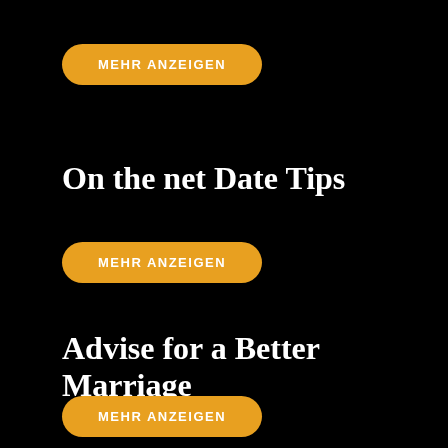[Figure (other): Orange rounded button with white uppercase text 'MEHR ANZEIGEN']
On the net Date Tips
[Figure (other): Orange rounded button with white uppercase text 'MEHR ANZEIGEN']
Advise for a Better Marriage
[Figure (other): Orange rounded button with white uppercase text 'MEHR ANZEIGEN']